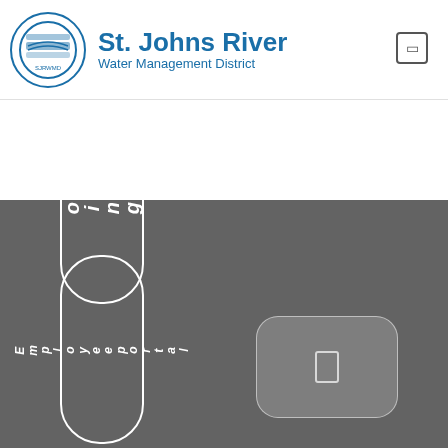St. Johns River Water Management District
[Figure (screenshot): St. Johns River Water Management District website interface with dark gray background, showing a partially visible navigation pill with text 'oing' (part of 'Going'), a full pill button labeled 'Employeeportal' in vertical text, and a rounded rectangle button in the lower right.]